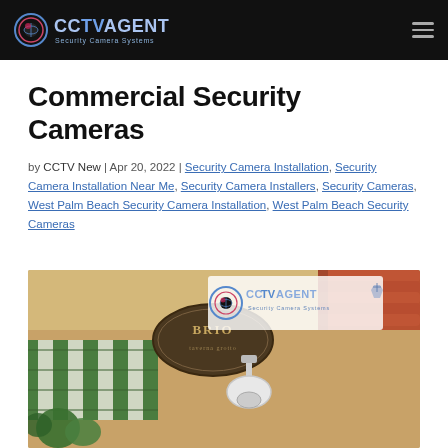CCTVAGENT Security Camera Systems
Commercial Security Cameras
by CCTV New | Apr 20, 2022 | Security Camera Installation, Security Camera Installation Near Me, Security Camera Installers, Security Cameras, West Palm Beach Security Camera Installation, West Palm Beach Security Cameras
[Figure (photo): A security camera mounted outdoors at a commercial location (restaurant named Brio) with the CCTV Agent Security Camera Systems logo overlaid on the image. Green and white striped awnings and terracotta roof tiles visible in the background.]